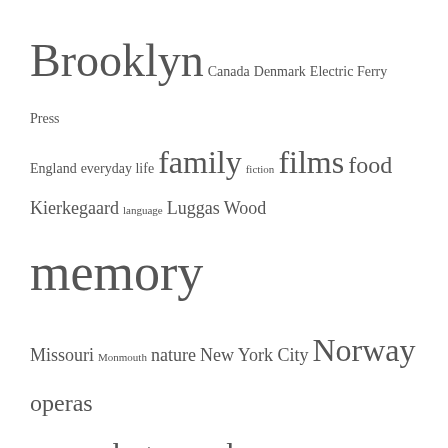Brooklyn Canada Denmark Electric Ferry Press England everyday life family fiction films food Kierkegaard language Luggas Wood memory Missouri Monmouth nature New York City Norway operas Painting Paris photographs poems printing race religion Sister Patsy Sunset Park Wales Waterloo World War I writing Wulfenite Affair Yellow Room
About the author
[Figure (photo): Partial photo of an elderly man with white hair, outdoors with green foliage in background, cropped at bottom of page]